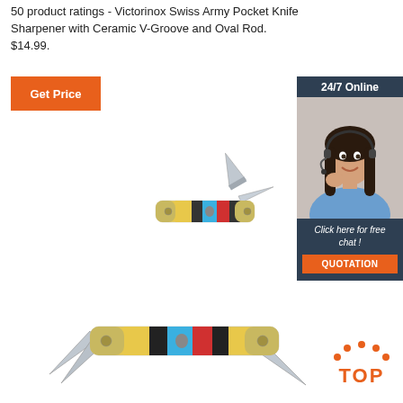50 product ratings - Victorinox Swiss Army Pocket Knife Sharpener with Ceramic V-Groove and Oval Rod. $14.99.
[Figure (other): Orange 'Get Price' button]
[Figure (other): Advertisement banner: 24/7 Online customer service agent with headset, 'Click here for free chat!', QUOTATION button]
[Figure (photo): Folding pocket knife with colorful handle (yellow, red, blue, black stripes) and two blades open]
[Figure (photo): Larger folding pocket knife with multiple blades open, colorful striped handle]
[Figure (other): Orange 'TOP' icon with arc of dots above text]